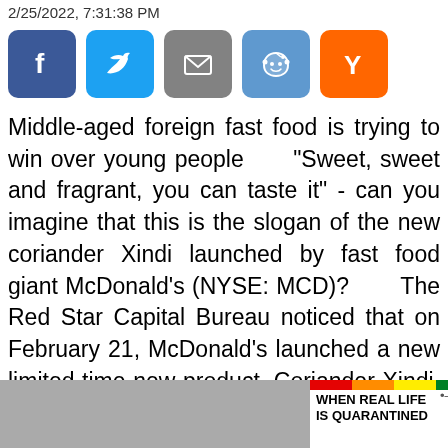2/25/2022, 7:31:38 PM
[Figure (infographic): Social share buttons: Facebook (blue), Twitter (light blue), Email (gray), Reddit (light blue), Y Combinator (orange)]
Middle-aged foreign fast food is trying to win over young people "Sweet, sweet and fragrant, you can taste it" - can you imagine that this is the slogan of the new coriander Xindi launched by fast food giant McDonald's (NYSE: MCD)?      The Red Star Capital Bureau noticed that on February 21, McDonald's launched a new limited-time new product, Coriander Xindi. Once the magical combination of cori
[Figure (infographic): Close X button overlay and BitLife advertisement banner at bottom of page]